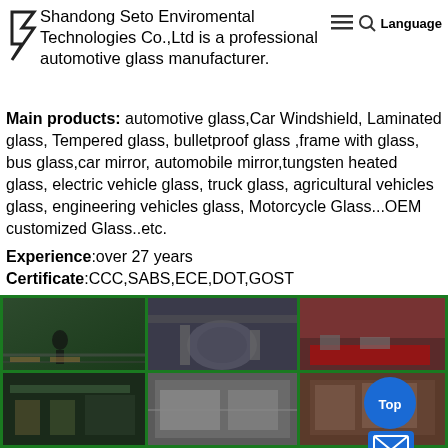Shandong Seto Enviromental Technologies Co.,Ltd is a professional automotive glass manufacturer.
Main products: automotive glass,Car Windshield, Laminated glass, Tempered glass, bulletproof glass ,frame with glass, bus glass,car mirror, automobile mirror,tungsten heated glass, electric vehicle glass, truck glass, agricultural vehicles glass, engineering vehicles glass, Motorcycle Glass...OEM customized Glass..etc.
Experience:over 27 years
Certificate:CCC,SABS,ECE,DOT,GOST
[Figure (photo): Six factory/manufacturing photos arranged in 2-row 3-column grid showing automotive glass manufacturing equipment and processes]